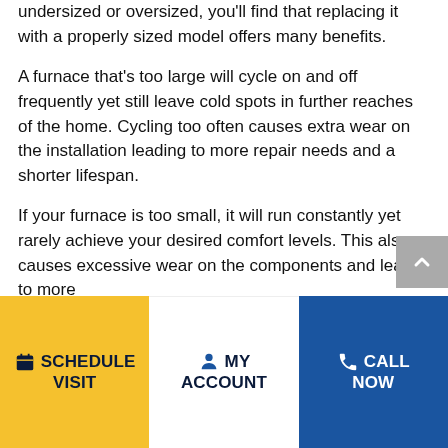undersized or oversized, you'll find that replacing it with a properly sized model offers many benefits.
A furnace that's too large will cycle on and off frequently yet still leave cold spots in further reaches of the home. Cycling too often causes extra wear on the installation leading to more repair needs and a shorter lifespan.
If your furnace is too small, it will run constantly yet rarely achieve your desired comfort levels. This also causes excessive wear on the components and leads to more
SCHEDULE VISIT
MY ACCOUNT
CALL NOW